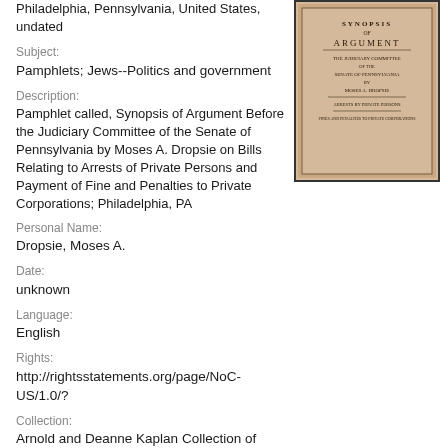Philadelphia, Pennsylvania, United States, undated
Subject:
Pamphlets; Jews--Politics and government
Description:
Pamphlet called, Synopsis of Argument Before the Judiciary Committee of the Senate of Pennsylvania by Moses A. Dropsie on Bills Relating to Arrests of Private Persons and Payment of Fine and Penalties to Private Corporations; Philadelphia, PA
[Figure (photo): Photograph of a pamphlet cover titled 'Synopsis of Argument Before the Judiciary Committee of the Senate of Pennsylvania by Moses A. Dropsie on Bills Relating to Arrests of Private Persons and Fines and Penalties to Private Corporations']
Personal Name:
Dropsie, Moses A.
Date:
unknown
Language:
English
Rights:
http://rightsstatements.org/page/NoC-US/1.0/?
Collection:
Arnold and Deanne Kaplan Collection of Early American Judaica